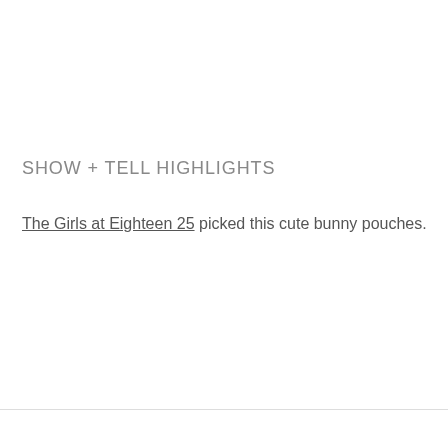SHOW + TELL HIGHLIGHTS
The Girls at Eighteen 25 picked this cute bunny pouches.